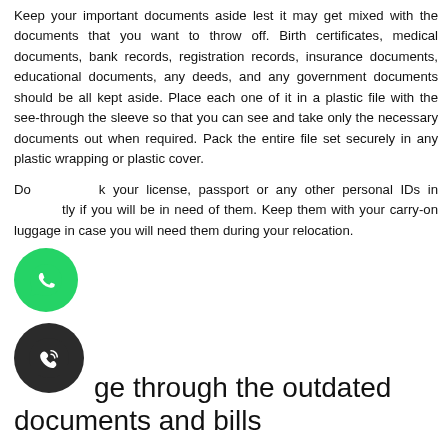Keep your important documents aside lest it may get mixed with the documents that you want to throw off. Birth certificates, medical documents, bank records, registration records, insurance documents, educational documents, any deeds, and any government documents should be all kept aside. Place each one of it in a plastic file with the see-through the sleeve so that you can see and take only the necessary documents out when required. Pack the entire file set securely in any plastic wrapping or plastic cover.
Do not misplace your license, passport or any other personal IDs and keep them handy if you will be in need of them. Keep them with your carry-on luggage in case you will need them during your relocation.
Rummage through the outdated documents and bills